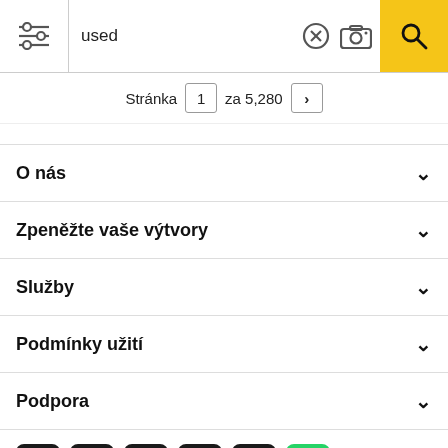[Figure (screenshot): Search bar with filter icon, text input showing 'used', clear button, camera button, and yellow search button]
Stránka  1  za 5,280  >
O nás
Zpeněžte vaše výtvory
Služby
Podmínky užití
Podpora
[Figure (infographic): Row of social media icons: Discord, Facebook, Twitter, Instagram, Pinterest, WhatsApp]
Všechna práva vyhrazena. © Inmagine Lab Pte Ltd 2022.